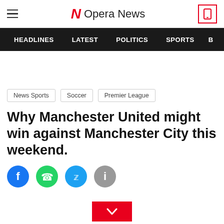Opera News
HEADLINES  LATEST  POLITICS  SPORTS
News Sports
Soccer
Premier League
Why Manchester United might win against Manchester City this weekend.